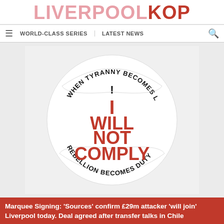LIVERPOOLKOP
WORLD-CLASS SERIES   LATEST NEWS
[Figure (illustration): Circular sticker graphic with bold red distressed text reading 'I WILL NOT COMPLY' in the center, with curved black text along the top arc reading 'WHEN TYRANNY BECOMES LAW' and curved black text along the bottom arc reading 'REBELLION BECOMES DUTY'. White background with a shaped border.]
Marquee Signing: 'Sources' confirm £29m attacker 'will join' Liverpool today. Deal agreed after transfer talks in Chile